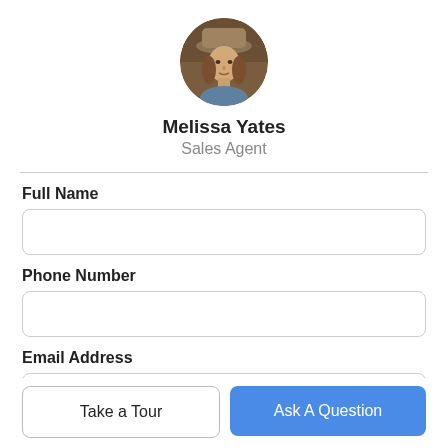[Figure (photo): Circular profile photo of Melissa Yates, a woman with long brown hair wearing a hat, with a brown/brick background.]
Melissa Yates
Sales Agent
Full Name
Phone Number
Email Address
Take a Tour
Ask A Question